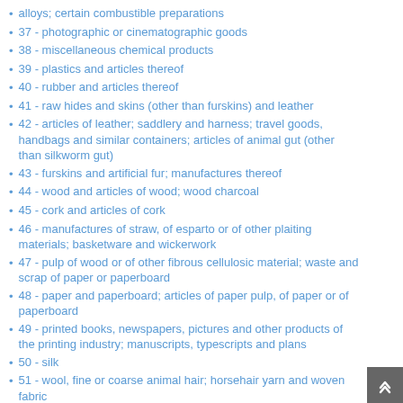alloys; certain combustible preparations
37 - photographic or cinematographic goods
38 - miscellaneous chemical products
39 - plastics and articles thereof
40 - rubber and articles thereof
41 - raw hides and skins (other than furskins) and leather
42 - articles of leather; saddlery and harness; travel goods, handbags and similar containers; articles of animal gut (other than silkworm gut)
43 - furskins and artificial fur; manufactures thereof
44 - wood and articles of wood; wood charcoal
45 - cork and articles of cork
46 - manufactures of straw, of esparto or of other plaiting materials; basketware and wickerwork
47 - pulp of wood or of other fibrous cellulosic material; waste and scrap of paper or paperboard
48 - paper and paperboard; articles of paper pulp, of paper or of paperboard
49 - printed books, newspapers, pictures and other products of the printing industry; manuscripts, typescripts and plans
50 - silk
51 - wool, fine or coarse animal hair; horsehair yarn and woven fabric